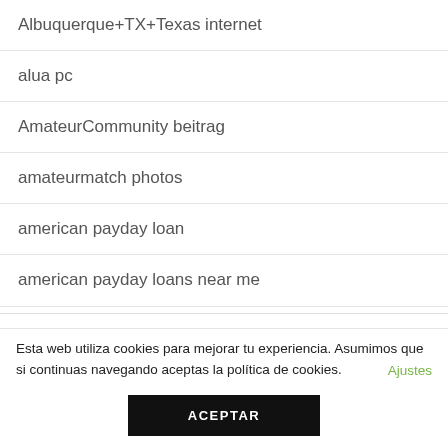Albuquerque+TX+Texas internet
alua pc
AmateurCommunity beitrag
amateurmatch photos
american payday loan
american payday loans near me
american title loans
Esta web utiliza cookies para mejorar tu experiencia. Asumimos que si continuas navegando aceptas la política de cookies. Ajustes ACEPTAR